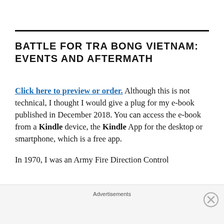BATTLE FOR TRA BONG VIETNAM: EVENTS AND AFTERMATH
Click here to preview or order. Although this is not technical, I thought I would give a plug for my e-book published in December 2018. You can access the e-book from a Kindle device, the Kindle App for the desktop or smartphone, which is a free app.
In 1970, I was an Army Fire Direction Control
Advertisements